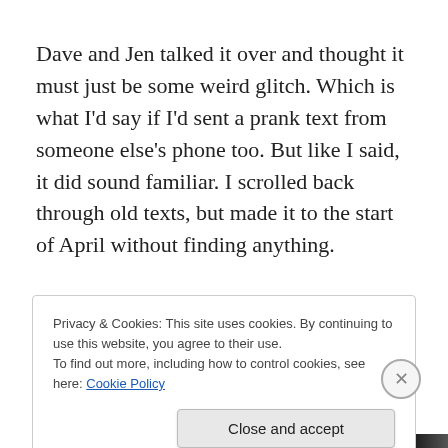Dave and Jen talked it over and thought it must just be some weird glitch. Which is what I'd say if I'd sent a prank text from someone else's phone too. But like I said, it did sound familiar. I scrolled back through old texts, but made it to the start of April without finding anything.

Then I had a meeting. One of those ones that I didn't
Privacy & Cookies: This site uses cookies. By continuing to use this website, you agree to their use.
To find out more, including how to control cookies, see here: Cookie Policy